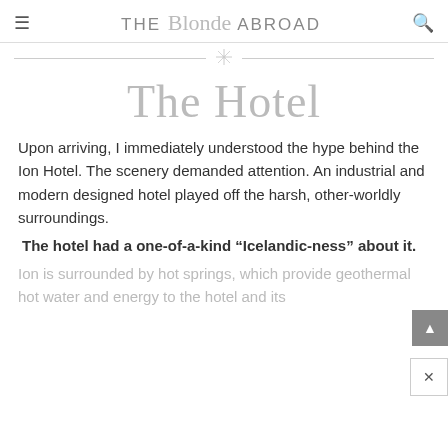THE Blonde ABROAD
[Figure (illustration): Decorative divider ornament — horizontal lines with a small cross/snowflake shape in the center]
The Hotel
Upon arriving, I immediately understood the hype behind the Ion Hotel. The scenery demanded attention. An industrial and modern designed hotel played off the harsh, other-worldly surroundings.
The hotel had a one-of-a-kind “Icelandic-ness” about it.
Ion is surrounded by hot springs, which provide geothermal hot water and energy to the hotel and its